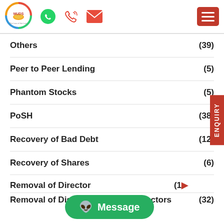[Figure (logo): MUDS logo with circular colorful ring design and tagline 'The Law of the Land']
Others (39)
Peer to Peer Lending (5)
Phantom Stocks (5)
PoSH (38)
Recovery of Bad Debt (12)
Recovery of Shares (6)
Removal of Director (10)
Removal of Disqualification of Directors (32)